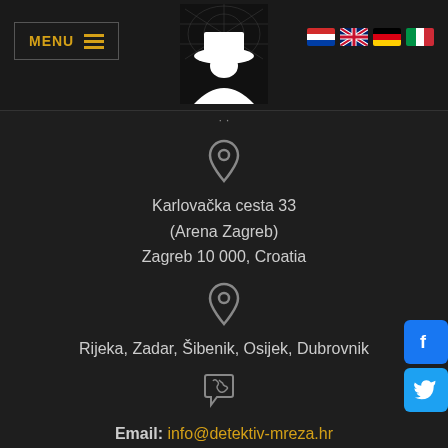MENU | [logo] | [flags: HR, EN, DE, IT]
[Figure (logo): Detective agency logo: dark background with spider web and white silhouette of man in hat]
Karlovačka cesta 33
(Arena Zagreb)
Zagreb 10 000, Croatia
Rijeka, Zadar, Šibenik, Osijek, Dubrovnik
Email: info@detektiv-mreza.hr